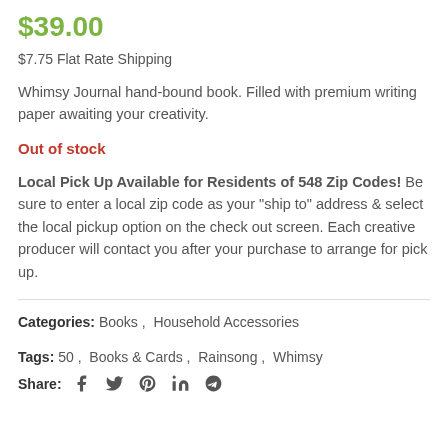$39.00
$7.75 Flat Rate Shipping
Whimsy Journal hand-bound book. Filled with premium writing paper awaiting your creativity.
Out of stock
Local Pick Up Available for Residents of 548 Zip Codes! Be sure to enter a local zip code as your "ship to" address & select the local pickup option on the check out screen. Each creative producer will contact you after your purchase to arrange for pick up.
Categories: Books, Household Accessories
Tags: 50, Books & Cards, Rainsong, Whimsy
Share: